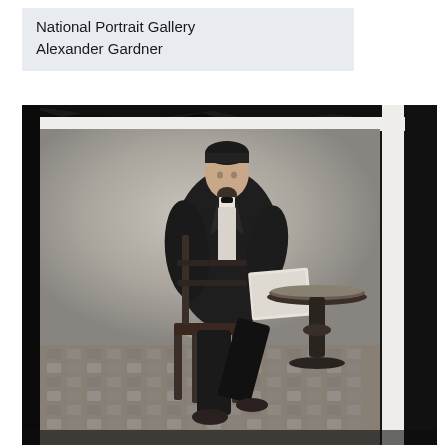National Portrait Gallery
Alexander Gardner
[Figure (photo): Historical black and white photograph of Abraham Lincoln seated in a chair, wearing a dark suit with bow tie, one arm resting on an ornate side table with papers. The image is a glass plate photograph with visible tape, torn edges, and damage around the border. Lincoln sits against a plain studio backdrop with a patterned floor visible.]